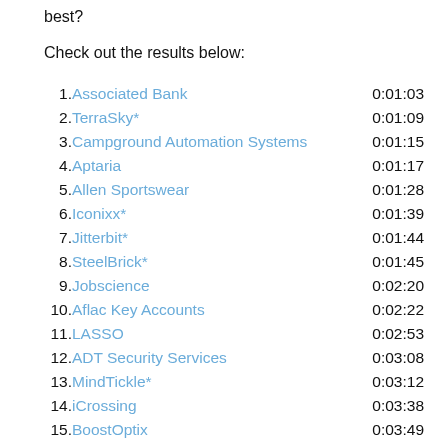best?
Check out the results below:
1. Associated Bank   0:01:03
2. TerraSky*   0:01:09
3. Campground Automation Systems   0:01:15
4. Aptaria   0:01:17
5. Allen Sportswear   0:01:28
6. Iconixx*   0:01:39
7. Jitterbit*   0:01:44
8. SteelBrick*   0:01:45
9. Jobscience   0:02:20
10. Aflac Key Accounts   0:02:22
11. LASSO   0:02:53
12. ADT Security Services   0:03:08
13. MindTickle*   0:03:12
14. iCrossing   0:03:38
15. BoostOptix   0:03:49
16. Internap Network Services   0:04:01
17. Five9*   0:04:26
18. AfterCollege   0:04:44
19. EarthLink   0:04:51